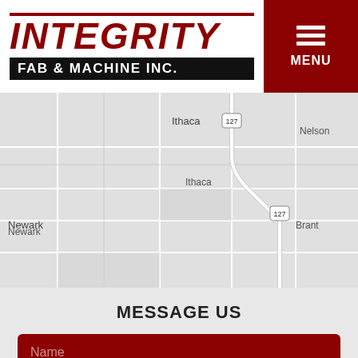[Figure (logo): Integrity Fab & Machine Inc. logo with red text and black banner]
[Figure (map): Grayscale road map showing Ithaca area with route 127, Lakefield, Galloway, Nelson, Newark, Brant locations]
MESSAGE US
Name
Phone